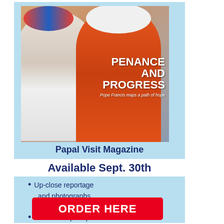[Figure (photo): Book cover showing two people in Indigenous ceremonial dress and Pope Francis, titled 'Penance and Progress — Pope Francis maps a path of hope']
Papal Visit Magazine
Available Sept. 30th
Up-close reportage and photographs
Papal Speeches
Discussion prompts
ORDER HERE